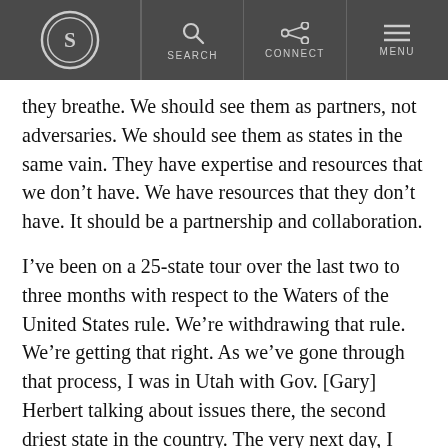S [logo] | SEARCH | CONNECT | MENU
they breathe. We should see them as partners, not adversaries. We should see them as states in the same vain. They have expertise and resources that we don’t have. We have resources that they don’t have. It should be a partnership and collaboration.
I’ve been on a 25-state tour over the last two to three months with respect to the Waters of the United States rule. We’re withdrawing that rule. We’re getting that right. As we’ve gone through that process, I was in Utah with Gov. [Gary] Herbert talking about issues there, the second driest state in the country. The very next day, I was in Minnesota; [there are] different issues in Minnesota with respect to waters than in Utah.